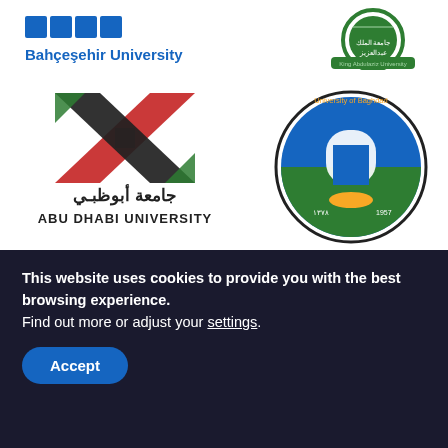[Figure (logo): Bahçeşehir University logo with blue text and geometric shapes at top left]
[Figure (logo): King Abdulaziz University circular green logo at top right]
[Figure (logo): Abu Dhabi University logo with colorful X-shape and Arabic and English text]
[Figure (logo): University of Baghdad circular blue and green seal with Arabic text and 1957]
[Figure (logo): An-Najah National University circular blue logo with Arabic text, partially cut off]
[Figure (logo): Al-Ahliyya Amman University shield logo with green and Arabic text, partially cut off]
This website uses cookies to provide you with the best browsing experience.
Find out more or adjust your settings.
Accept